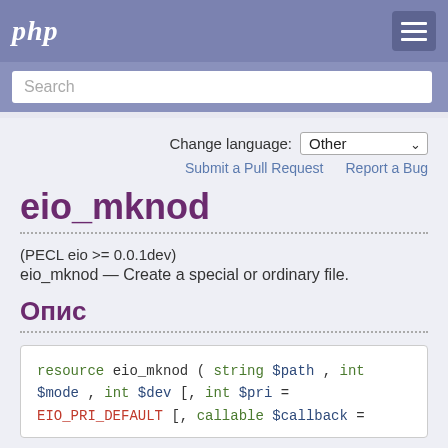php
Search
Change language: Other
Submit a Pull Request   Report a Bug
eio_mknod
(PECL eio >= 0.0.1dev)
eio_mknod — Create a special or ordinary file.
Опис
resource eio_mknod ( string $path , int $mode , int $dev [, int $pri = EIO_PRI_DEFAULT [, callable $callback =